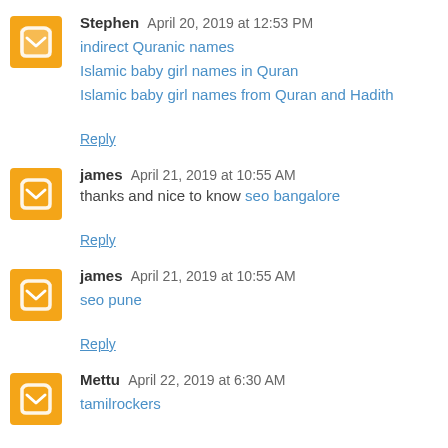Stephen  April 20, 2019 at 12:53 PM
indirect Quranic names
Islamic baby girl names in Quran
Islamic baby girl names from Quran and Hadith
Reply
james  April 21, 2019 at 10:55 AM
thanks and nice to know seo bangalore
Reply
james  April 21, 2019 at 10:55 AM
seo pune
Reply
Mettu  April 22, 2019 at 6:30 AM
tamilrockers